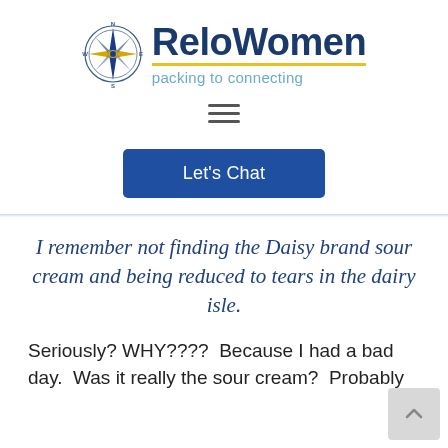[Figure (logo): ReloWomen logo with compass rose icon and text 'ReloWomen packing to connecting']
[Figure (other): Hamburger menu icon (three horizontal lines)]
[Figure (other): Blue 'Let's Chat' button]
I remember not finding the Daisy brand sour cream and being reduced to tears in the dairy isle.
Seriously? WHY????  Because I had a bad day.  Was it really the sour cream?  Probably